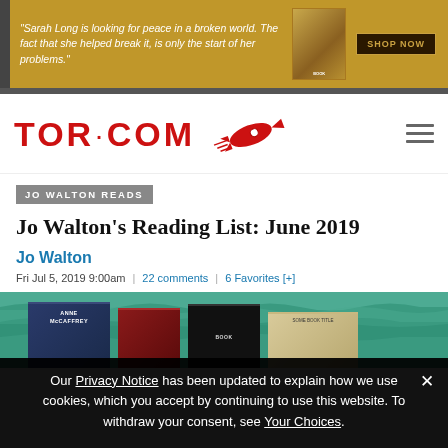[Figure (other): Advertisement banner with golden background: text 'Sarah Long is looking for peace in a broken world. The fact that she helped break it, is only the start of her problems.' with book image and SHOP NOW button]
[Figure (logo): TOR.COM logo in red with rocket ship illustration]
JO WALTON READS
Jo Walton's Reading List: June 2019
Jo Walton
Fri Jul 5, 2019 9:00am  |  22 comments  |  6 Favorites [+]
[Figure (photo): Photo of multiple books laid on a watery/ocean background, including an Anne McCaffrey book]
Our Privacy Notice has been updated to explain how we use cookies, which you accept by continuing to use this website. To withdraw your consent, see Your Choices.